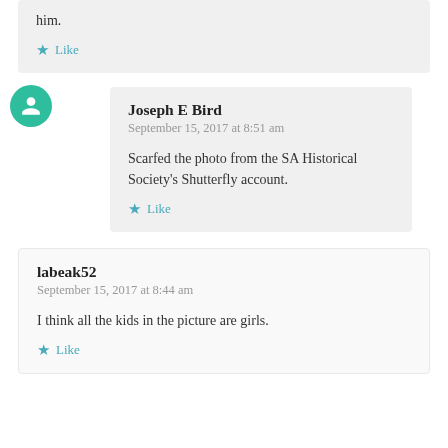him.
★ Like
Joseph E Bird
September 15, 2017 at 8:51 am
Scarfed the photo from the SA Historical Society's Shutterfly account.
★ Like
labeak52
September 15, 2017 at 8:44 am
I think all the kids in the picture are girls.
★ Like